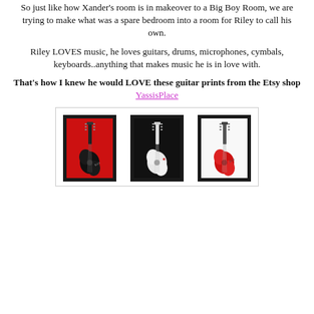So just like how Xander's room is in makeover to a Big Boy Room, we are trying to make what was a spare bedroom into a room for Riley to call his own.
Riley LOVES music, he loves guitars, drums, microphones, cymbals, keyboards..anything that makes music he is in love with.
That's how I knew he would LOVE these guitar prints from the Etsy shop YassisPlace
[Figure (photo): Three framed guitar prints side by side: first with red background and black guitar, second with black background and white guitar, third with white background and red guitar]